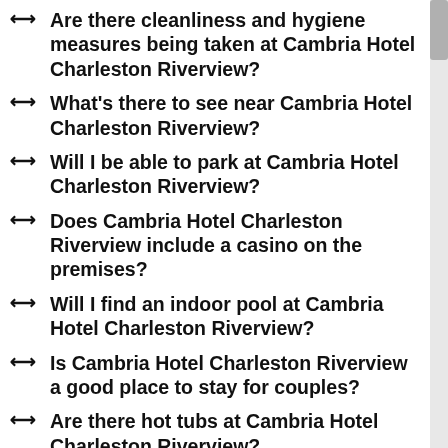Are there cleanliness and hygiene measures being taken at Cambria Hotel Charleston Riverview?
What's there to see near Cambria Hotel Charleston Riverview?
Will I be able to park at Cambria Hotel Charleston Riverview?
Does Cambria Hotel Charleston Riverview include a casino on the premises?
Will I find an indoor pool at Cambria Hotel Charleston Riverview?
Is Cambria Hotel Charleston Riverview a good place to stay for couples?
Are there hot tubs at Cambria Hotel Charleston Riverview?